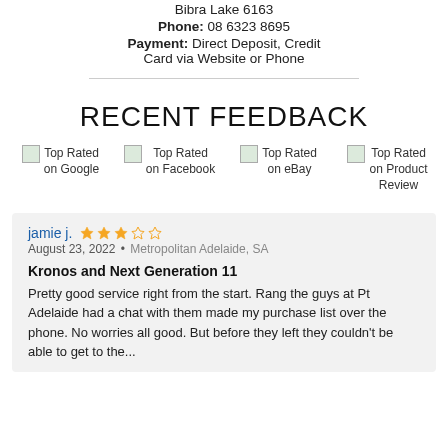Bibra Lake 6163
Phone: 08 6323 8695
Payment: Direct Deposit, Credit Card via Website or Phone
RECENT FEEDBACK
[Figure (other): Four 'Top Rated' badge images in a row: Top Rated on Google, Top Rated on Facebook, Top Rated on eBay, Top Rated on Product Review]
jamie j. ★★★☆☆
August 23, 2022 • Metropolitan Adelaide, SA

Kronos and Next Generation 11

Pretty good service right from the start. Rang the guys at Pt Adelaide had a chat with them made my purchase list over the phone. No worries all good. But before they left they couldn't be able to get to the...